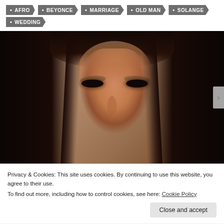AFRO
BEYONCE
MARRIAGE
OLD MAN
SOLANGE
WEDDING
[Figure (photo): Close-up portrait of a woman with long straight dark hair, dramatic eye makeup with smoky eyeshadow and long lashes, warm skin tone, against a warm brown background.]
Privacy & Cookies: This site uses cookies. By continuing to use this website, you agree to their use.
To find out more, including how to control cookies, see here: Cookie Policy
Close and accept